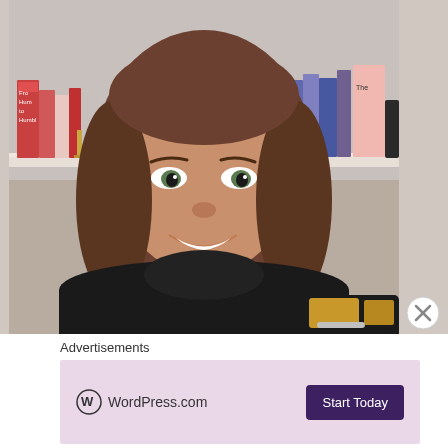[Figure (photo): A smiling woman with brown hair wearing a black turtleneck sweater, taking a selfie in front of a bookshelf with colorful books including one titled 'From Humble to Humble'. She is wearing a gold bracelet.]
Advertisements
[Figure (logo): WordPress.com advertisement banner with light purple/pink background showing WordPress.com logo and a 'Start Today' dark purple button.]